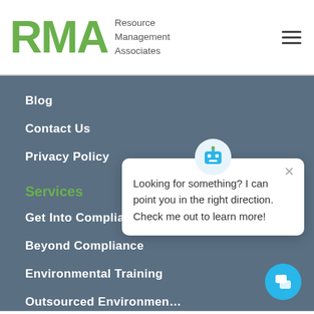[Figure (logo): RMA Resource Management Associates logo with green RMA text and hamburger menu icon]
Blog
Contact Us
Privacy Policy
Services
Get Into Compliance
Beyond Compliance
Environmental Training
Outsourced Environmen…
Phase I Environmental Site Assessments
[Figure (illustration): Chatbot popup with robot icon saying: Looking for something? I can point you in the right direction. Check me out to learn more!]